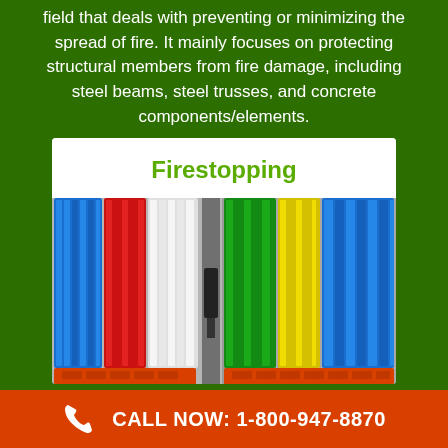field that deals with preventing or minimizing the spread of fire. It mainly focuses on protecting structural members from fire damage, including steel beams, steel trusses, and concrete components/elements.
[Figure (photo): A card showing a photo of colorful firestopping cable bundles (blue, red, white, green, yellow, blue) passing through orange firestop devices mounted in a wall or floor penetration. The card has a white header area with 'Firestopping' in green text.]
CALL NOW: 1-800-947-8870